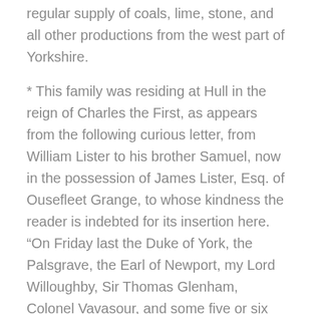regular supply of coals, lime, stone, and all other productions from the west part of Yorkshire.
* This family was residing at Hull in the reign of Charles the First, as appears from the following curious letter, from William Lister to his brother Samuel, now in the possession of James Lister, Esq. of Ousefleet Grange, to whose kindness the reader is indebted for its insertion here. “On Friday last the Duke of York, the Palsgrave, the Earl of Newport, my Lord Willoughby, Sir Thomas Glenham, Colonel Vavasour, and some five or six cavaliers, came to Hull. The Governor hearing, by Alderman Watkinson, that night of their coming, went